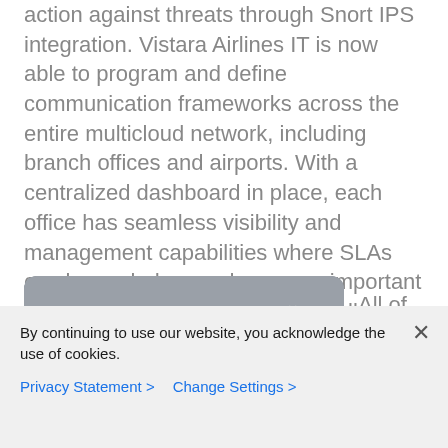action against threats through Snort IPS integration. Vistara Airlines IT is now able to program and define communication frameworks across the entire multicloud network, including branch offices and airports. With a centralized dashboard in place, each office has seamless visibility and management capabilities where SLAs can be scaled up or down – an important aspect of business in a dynamically changing industry like aviation.
[Figure (photo): Photograph of an airport or airline building exterior with gray overcast sky; a building with a logo visible on the left side]
All of these features
By continuing to use our website, you acknowledge the use of cookies.
Privacy Statement > Change Settings >